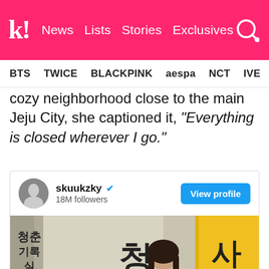k! News Lists Stories Exclusives
BTS TWICE BLACKPINK aespa NCT IVE SHIN
cozy neighborhood close to the main Jeju City, she captioned it, "Everything is closed wherever I go."
[Figure (screenshot): Instagram embed card for user skuukzky with 18M followers, showing a View profile button and a photo of a young woman in a polka-dot outfit standing in front of a wall with large Korean characters, yellow trim visible.]